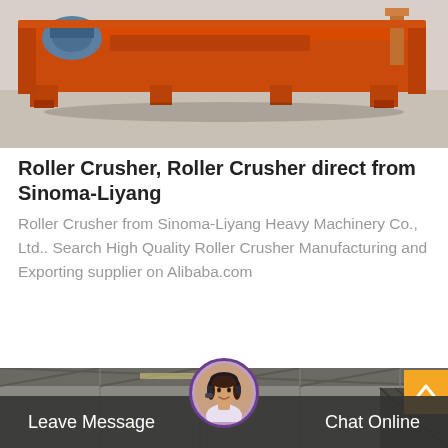[Figure (photo): Orange industrial roller crusher machinery on a concrete floor, photographed from the side. The machine is large, orange-painted heavy equipment with rollers and motor.]
Roller Crusher, Roller Crusher direct from Sinoma-Liyang
Roller Crusher from Sinoma-Liyang Heavy Machinery Co., Ltd.. Search High Quality Roller Crusher Manufacturing and Exporting supplier on Alibaba.com
[Figure (photo): Industrial warehouse or factory interior with structural steel trusses, partially visible in the bottom section of the page as a background image.]
[Figure (photo): Customer service representative avatar — a smiling woman wearing a headset, shown in a circular portrait at the bottom center of the page.]